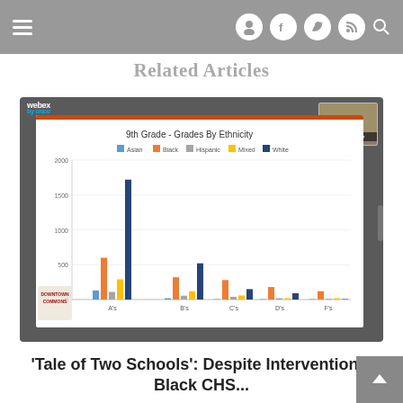Related Articles
[Figure (grouped-bar-chart): 9th Grade - Grades By Ethnicity]
'Tale of Two Schools': Despite Interventions, Black CHS...